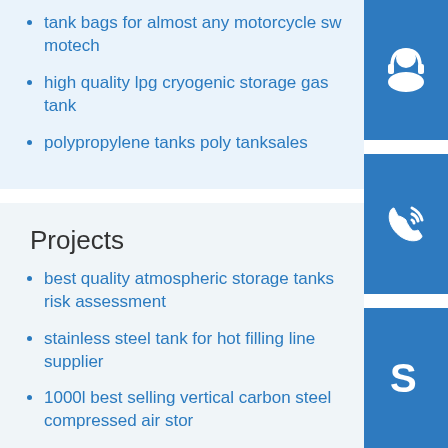tank bags for almost any motorcycle sw motech
high quality lpg cryogenic storage gas tank
polypropylene tanks poly tanksales
[Figure (illustration): Blue square icon with white headset/customer support symbol]
[Figure (illustration): Blue square icon with white telephone/call symbol]
[Figure (illustration): Blue square icon with white Skype logo symbol]
Projects
best quality atmospheric storage tanks risk assessment
stainless steel tank for hot filling line supplier
1000l best selling vertical carbon steel compressed air stor
factory oil suction and discharge high pressure rubber hose